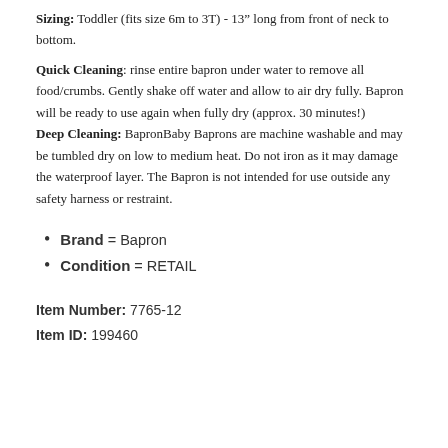Sizing: Toddler (fits size 6m to 3T) - 13" long from front of neck to bottom.
Quick Cleaning: rinse entire bapron under water to remove all food/crumbs. Gently shake off water and allow to air dry fully. Bapron will be ready to use again when fully dry (approx. 30 minutes!)
Deep Cleaning: BapronBaby Baprons are machine washable and may be tumbled dry on low to medium heat. Do not iron as it may damage the waterproof layer. The Bapron is not intended for use outside any safety harness or restraint.
Brand = Bapron
Condition = RETAIL
Item Number: 7765-12
Item ID: 199460